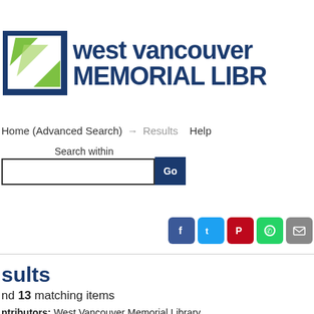[Figure (logo): West Vancouver Memorial Library logo with blue square icon containing green leaf shapes and bold blue text reading 'west vancouver MEMORIAL LIBR' (truncated)]
Home (Advanced Search) → Results   Help
Search within
[search input box with Go button]
[Figure (infographic): Social media sharing icons: Facebook (blue), Twitter (light blue), Pinterest (red), WhatsApp (green), Email (grey)]
sults
nd 13 matching items
ntributors: West Vancouver Memorial Library
dia Types: Images
n types:: Photographs